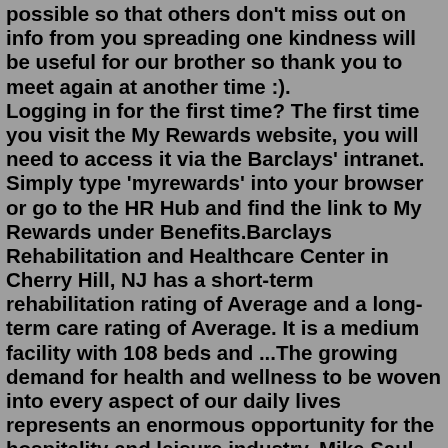possible so that others don't miss out on info from you spreading one kindness will be useful for our brother so thank you to meet again at another time :). Logging in for the first time? The first time you visit the My Rewards website, you will need to access it via the Barclays' intranet. Simply type 'myrewards' into your browser or go to the HR Hub and find the link to My Rewards under Benefits.Barclays Rehabilitation and Healthcare Center in Cherry Hill, NJ has a short-term rehabilitation rating of Average and a long-term care rating of Average. It is a medium facility with 108 beds and ...The growing demand for health and wellness to be woven into every aspect of our daily lives represents an enormous opportunity for the hospitality and leisure industry. Mike Saul, Head of Hospitality and Leisure, Barclays Corporate Banking, shares his insights into our latest research on how investing in wellness could future-proof the ... Banking from home. The handy way to manage your money. Here's how to take care of your money online and with our app – it's safe, secure and simple to use.